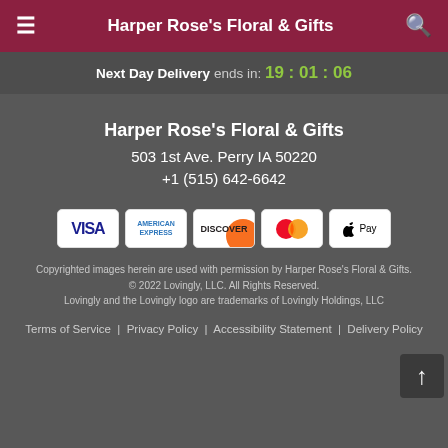Harper Rose's Floral & Gifts
Next Day Delivery ends in: 19:01:06
Harper Rose's Floral & Gifts
503 1st Ave. Perry IA 50220
+1 (515) 642-6642
[Figure (other): Payment method icons: VISA, American Express, Discover, Mastercard, Apple Pay]
Copyrighted images herein are used with permission by Harper Rose's Floral & Gifts.
© 2022 Lovingly, LLC. All Rights Reserved.
Lovingly and the Lovingly logo are trademarks of Lovingly Holdings, LLC
Terms of Service | Privacy Policy | Accessibility Statement | Delivery Policy